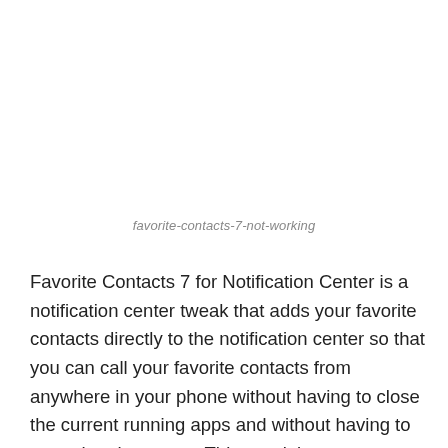favorite-contacts-7-not-working
Favorite Contacts 7 for Notification Center is a notification center tweak that adds your favorite contacts directly to the notification center so that you can call your favorite contacts from anywhere in your phone without having to close the current running apps and without having to open the phone app. This way it is more easy to make a call while you are already using another App or in some important work.